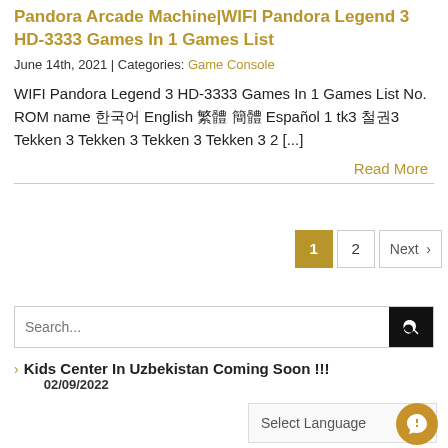Pandora Arcade Machine|WIFI Pandora Legend 3 HD-3333 Games In 1 Games List
June 14th, 2021 | Categories: Game Console
WIFI Pandora Legend 3 HD-3333 Games In 1 Games List No. ROM name 한국어 English 繁體 简体 Español 1 tk3 철권3 Tekken 3 Tekken 3 Tekken 3 Tekken 3 2 [...]
Read More
1  2  Next ›
Search...
> Kids Center In Uzbekistan Coming Soon !!!
02/09/2022
Select Language